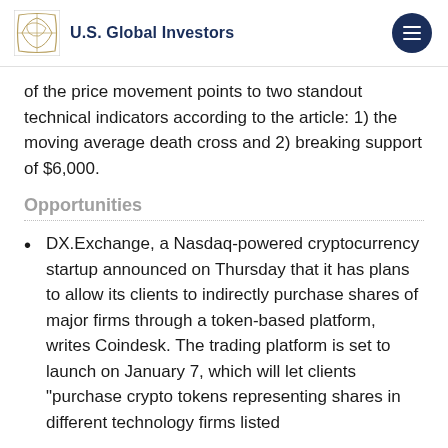U.S. Global Investors
of the price movement points to two standout technical indicators according to the article: 1) the moving average death cross and 2) breaking support of $6,000.
Opportunities
DX.Exchange, a Nasdaq-powered cryptocurrency startup announced on Thursday that it has plans to allow its clients to indirectly purchase shares of major firms through a token-based platform, writes Coindesk. The trading platform is set to launch on January 7, which will let clients “purchase crypto tokens representing shares in different technology firms listed